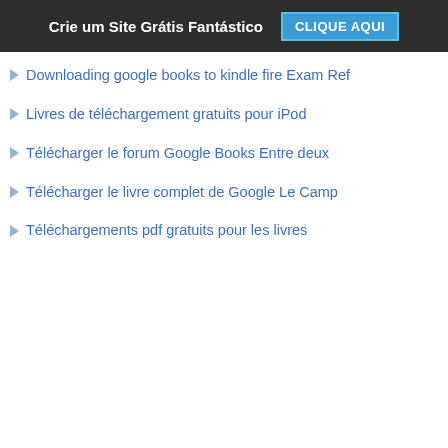Crie um Site Grátis Fantástico  CLIQUE AQUI
Downloading google books to kindle fire Exam Ref
Livres de téléchargement gratuits pour iPod
Télécharger le forum Google Books Entre deux
Télécharger le livre complet de Google Le Camp
Téléchargements pdf gratuits pour les livres